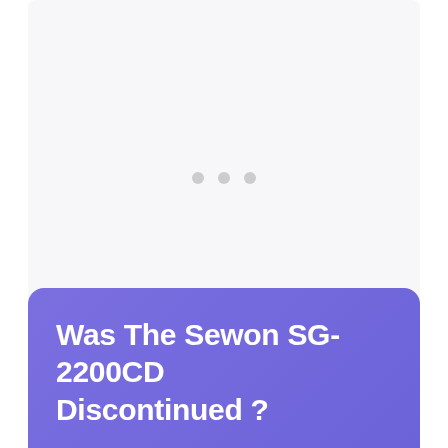[Figure (other): Loading placeholder area with three grey dots in the center on a light grey background]
Was The Sewon SG-2200CD Discontinued ?